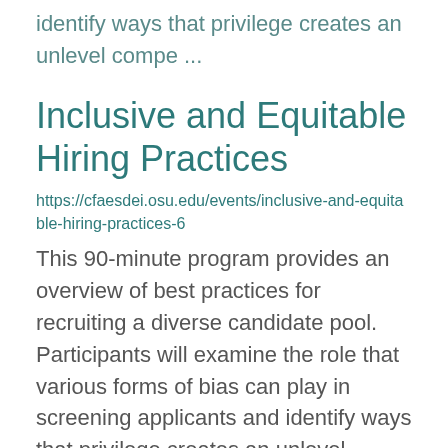identify ways that privilege creates an unlevel compe ...
Inclusive and Equitable Hiring Practices
https://cfaesdei.osu.edu/events/inclusive-and-equitable-hiring-practices-6
This 90-minute program provides an overview of best practices for recruiting a diverse candidate pool. Participants will examine the role that various forms of bias can play in screening applicants and identify ways that privilege creates an unlevel compe ...